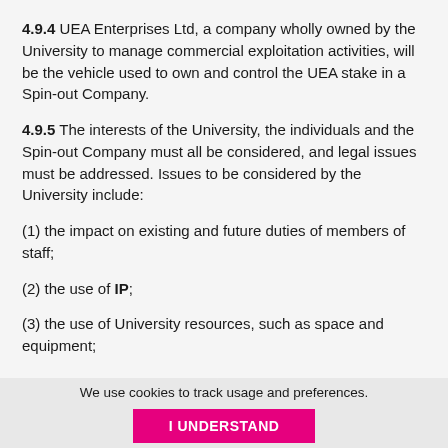4.9.4 UEA Enterprises Ltd, a company wholly owned by the University to manage commercial exploitation activities, will be the vehicle used to own and control the UEA stake in a Spin-out Company.
4.9.5 The interests of the University, the individuals and the Spin-out Company must all be considered, and legal issues must be addressed. Issues to be considered by the University include:
(1) the impact on existing and future duties of members of staff;
(2) the use of IP;
(3) the use of University resources, such as space and equipment;
We use cookies to track usage and preferences.
I UNDERSTAND